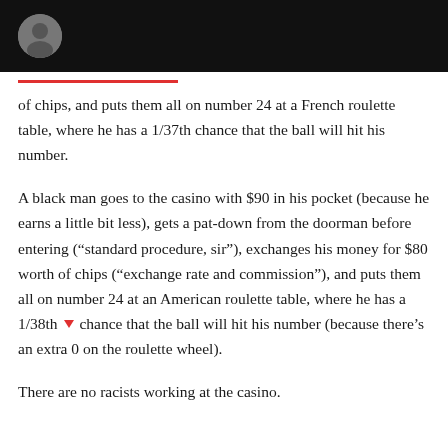[Avatar/profile image in black header bar]
of chips, and puts them all on number 24 at a French roulette table, where he has a 1/37th chance that the ball will hit his number.
A black man goes to the casino with $90 in his pocket (because he earns a little bit less), gets a pat-down from the doorman before entering (“standard procedure, sir”), exchanges his money for $80 worth of chips (“exchange rate and commission”), and puts them all on number 24 at an American roulette table, where he has a 1/38th ▼ chance that the ball will hit his number (because there’s an extra 0 on the roulette wheel).
There are no racists working at the casino.